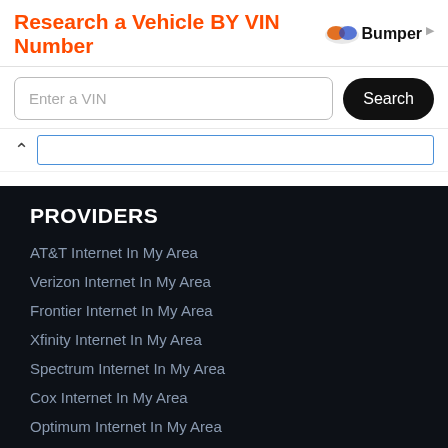[Figure (screenshot): Ad banner: Research a Vehicle BY VIN Number with Bumper logo and search field]
Enter a VIN
AT&T Internet In My Area
Verizon Internet In My Area
Frontier Internet In My Area
Xfinity Internet In My Area
Spectrum Internet In My Area
Cox Internet In My Area
Optimum Internet In My Area
Suddenlink Internet In My Area
Mediacom Internet In My Area
CableONE Internet In My Area